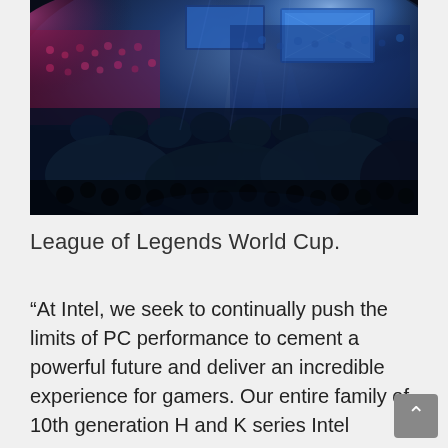[Figure (photo): Wide-angle photo of a large indoor esports arena filled with spectators, illuminated by blue and pink stage lighting with large screens visible at the front of the venue. Crowd fills the arena bowl.]
League of Legends World Cup.
“At Intel, we seek to continually push the limits of PC performance to cement a powerful future and deliver an incredible experience for gamers. Our entire family of 10th generation H and K series Intel Core processors, from desktop to mobile, are